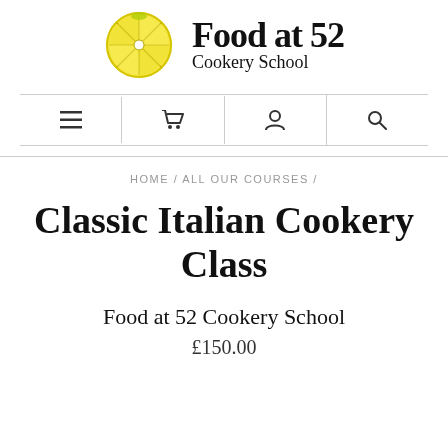[Figure (logo): Food at 52 Cookery School logo with lemon slice icon and brand name text]
[Figure (other): Navigation bar with four icons: hamburger menu, shopping cart, user profile, and search]
HOME / ALL OUR COURSES /
Classic Italian Cookery Class
Food at 52 Cookery School
£150.00